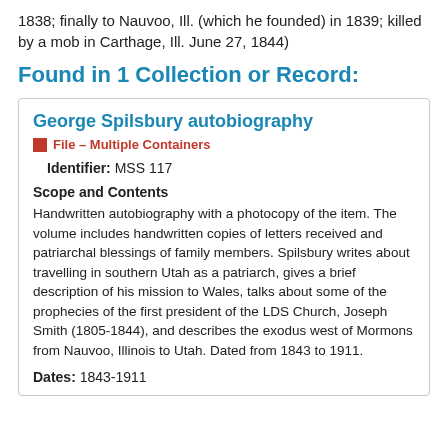1838; finally to Nauvoo, Ill. (which he founded) in 1839; killed by a mob in Carthage, Ill. June 27, 1844)
Found in 1 Collection or Record:
George Spilsbury autobiography
File – Multiple Containers
Identifier: MSS 117
Scope and Contents
Handwritten autobiography with a photocopy of the item. The volume includes handwritten copies of letters received and patriarchal blessings of family members. Spilsbury writes about travelling in southern Utah as a patriarch, gives a brief description of his mission to Wales, talks about some of the prophecies of the first president of the LDS Church, Joseph Smith (1805-1844), and describes the exodus west of Mormons from Nauvoo, Illinois to Utah. Dated from 1843 to 1911.
Dates: 1843-1911